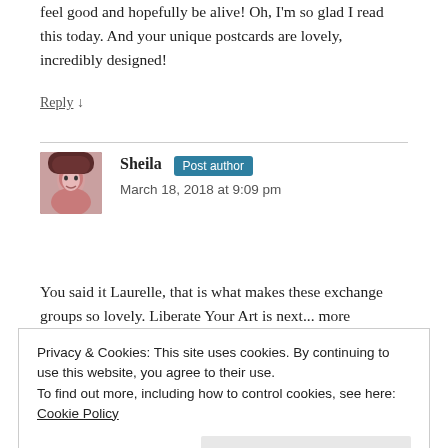feel good and hopefully be alive! Oh, I'm so glad I read this today. And your unique postcards are lovely, incredibly designed!
Reply ↓
Sheila Post author
March 18, 2018 at 9:09 pm
You said it Laurelle, that is what makes these exchange groups so lovely. Liberate Your Art is next... more
Privacy & Cookies: This site uses cookies. By continuing to use this website, you agree to their use.
To find out more, including how to control cookies, see here: Cookie Policy
Close and accept